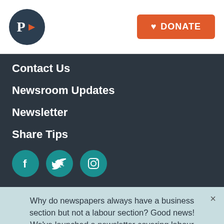P> DONATE
Contact Us
Newsroom Updates
Newsletter
Share Tips
[Figure (illustration): Social media icons: Facebook, Twitter, Instagram in teal circles]
Why do newspapers always have a business section but not a labour section? Good news! We've launched a newsletter covering labour issues in Canada.
Email Address*  SIGN UP